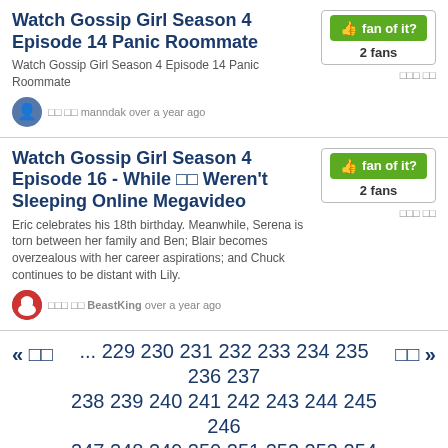Watch Gossip Girl Season 4 Episode 14 Panic Roommate
Watch Gossip Girl Season 4 Episode 14 Panic Roommate
□□ □□ manndak over a year ago
Watch Gossip Girl Season 4 Episode 16 - While □□ Weren't Sleeping Online Megavideo
Eric celebrates his 18th birthday. Meanwhile, Serena is torn between her family and Ben; Blair becomes overzealous with her career aspirations; and Chuck continues to be distant with Lily.
□□ □□ BeastKing over a year ago
« □□  ... 229 230 231 232 233 234 235 236 237 238 239 240 241 242 243 244 245 246 247 248 249 250 251 252 253 254 255 256 257 258 259 260 261 262 263 264 265 266 267 268 269 270 271 272 273 274 275 276 277 278 279 280 281 282 283 284 285 286 287 288 289 290 291 292 293 294 295 296 297 298 299 300 301 302 303 304 305 306 307 308 309  □□ »